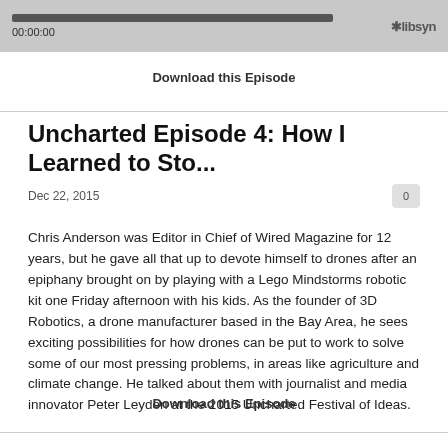[Figure (other): Audio player bar with progress track showing 00:00:00 timestamp and libsyn logo]
Download this Episode
Uncharted Episode 4: How I Learned to Sto...
Dec 22, 2015
Chris Anderson was Editor in Chief of Wired Magazine for 12 years, but he gave all that up to devote himself to drones after an epiphany brought on by playing with a Lego Mindstorms robotic kit one Friday afternoon with his kids. As the founder of 3D Robotics, a drone manufacturer based in the Bay Area, he sees exciting possibilities for how drones can be put to work to solve some of our most pressing problems, in areas like agriculture and climate change. He talked about them with journalist and media innovator Peter Leyden at the 2015 Uncharted Festival of Ideas.
Download this Episode